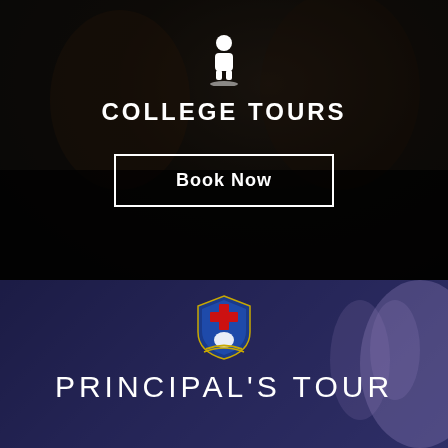[Figure (photo): Dark background photo of students in black and red school uniforms, overlaid with dark gradient]
COLLEGE TOURS
Book Now
[Figure (photo): Dark blue/purple background photo with a school crest/shield logo and a person partially visible on the right]
[Figure (logo): School shield/crest with red cross, anchor, and laurel wreath on a blue background]
PRINCIPAL'S TOUR